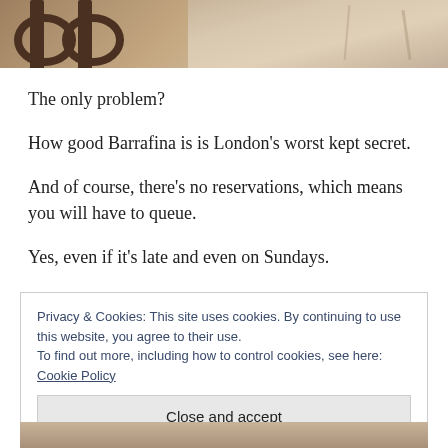[Figure (photo): Top portion of a photo showing dark metal bar stools or furniture with circular tops/rings against a stone or travertine wall background]
The only problem?
How good Barrafina is is London's worst kept secret.
And of course, there's no reservations, which means you will have to queue.
Yes, even if it's late and even on Sundays.
Privacy & Cookies: This site uses cookies. By continuing to use this website, you agree to their use.
To find out more, including how to control cookies, see here: Cookie Policy
[Figure (photo): Bottom portion of a photo, partially visible at the bottom edge of the page]